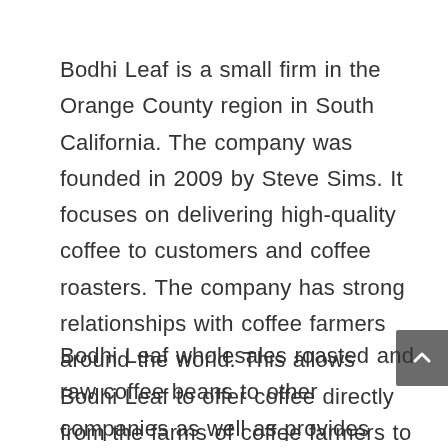Bodhi Leaf is a small firm in the Orange County region in South California. The company was founded in 2009 by Steve Sims. It focuses on delivering high-quality coffee to customers and coffee roasters. The company has strong relationships with coffee farmers around the world. This allows Bodhi Leaf to offer coffee directly from the farms of coffee farmers to your cup.
Bodhi Leaf wholesales roasted and raw coffee beans to other companies as well as provides retail coffee beans to